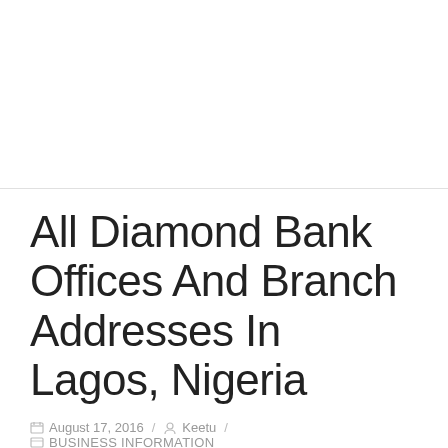All Diamond Bank Offices And Branch Addresses In Lagos, Nigeria
August 17, 2016 / Keetu / BUSINESS INFORMATION
[Figure (photo): Photo of bank cards or phones, yellow-green card visible, gray/blue background suggesting financial/banking theme]